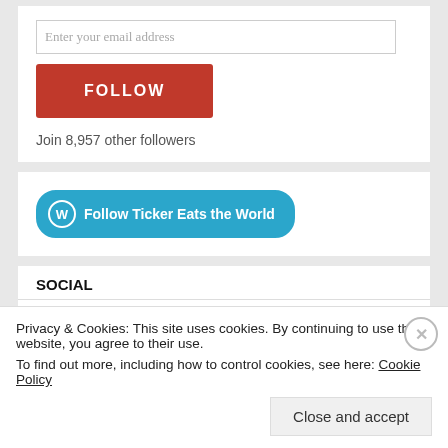Enter your email address
FOLLOW
Join 8,957 other followers
[Figure (screenshot): Follow Ticker Eats the World button with WordPress logo]
SOCIAL
[Figure (infographic): Social media icons: Facebook, Twitter, Instagram, Pinterest, LinkedIn, YouTube, Google+]
Privacy & Cookies: This site uses cookies. By continuing to use this website, you agree to their use.
To find out more, including how to control cookies, see here: Cookie Policy
Close and accept